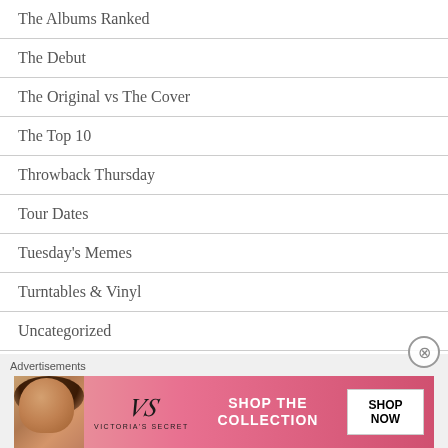The Albums Ranked
The Debut
The Original vs The Cover
The Top 10
Throwback Thursday
Tour Dates
Tuesday's Memes
Turntables & Vinyl
Uncategorized
Vs.
[Figure (infographic): Victoria's Secret advertisement banner showing a model, VS logo, 'SHOP THE COLLECTION' text, and a 'SHOP NOW' button]
Advertisements